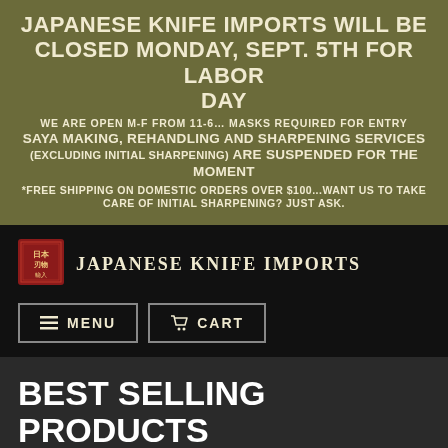JAPANESE KNIFE IMPORTS WILL BE CLOSED MONDAY, SEPT. 5TH FOR LABOR DAY
WE ARE OPEN M-F FROM 11-6... MASKS REQUIRED FOR ENTRY
SAYA MAKING, REHANDLING AND SHARPENING SERVICES (EXCLUDING INITIAL SHARPENING) ARE SUSPENDED FOR THE MOMENT
*FREE SHIPPING ON DOMESTIC ORDERS OVER $100...WANT US TO TAKE CARE OF INITIAL SHARPENING? JUST ASK.
[Figure (logo): Japanese Knife Imports logo with red seal stamp and text]
JAPANESE KNIFE IMPORTS
MENU
CART
BEST SELLING PRODUCTS
Best Selling